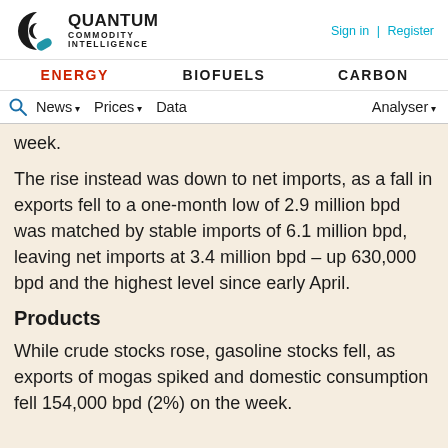QUANTUM COMMODITY INTELLIGENCE | Sign in | Register | ENERGY | BIOFUELS | CARBON | News | Prices | Data | Analyser
week.
The rise instead was down to net imports, as a fall in exports fell to a one-month low of 2.9 million bpd was matched by stable imports of 6.1 million bpd, leaving net imports at 3.4 million bpd – up 630,000 bpd and the highest level since early April.
Products
While crude stocks rose, gasoline stocks fell, as exports of mogas spiked and domestic consumption fell 154,000 bpd (2%) on the week.